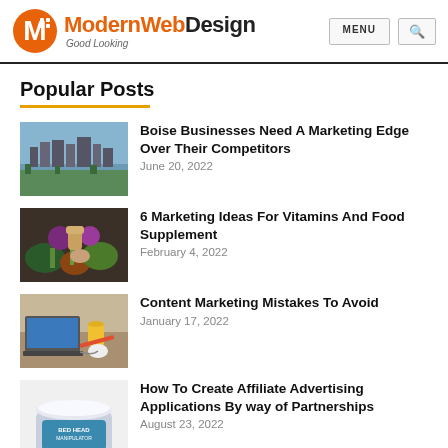ModernWebDesign — Good Looking | MENU | Search
Popular Posts
[Figure (photo): Aerial view of Boise city]
Boise Businesses Need A Marketing Edge Over Their Competitors
June 20, 2022
[Figure (photo): Vegetables and food supplements on dark background]
6 Marketing Ideas For Vitamins And Food Supplement
February 4, 2022
[Figure (photo): Laptop on a desk with coffee and office items]
Content Marketing Mistakes To Avoid
January 17, 2022
[Figure (photo): TIGI hair product jar]
How To Create Affiliate Advertising Applications By way of Partnerships
August 23, 2022